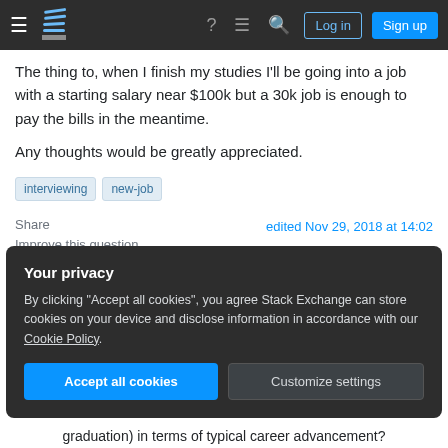Stack Exchange navigation bar with hamburger menu, logo, help, chat, search, Log in and Sign up buttons
The thing to, when I finish my studies I'll be going into a job with a starting salary near $100k but a 30k job is enough to pay the bills in the meantime.
Any thoughts would be greatly appreciated.
interviewing
new-job
Share
edited Nov 29, 2018 at 14:02
Improve this question
Follow
Your privacy
By clicking "Accept all cookies", you agree Stack Exchange can store cookies on your device and disclose information in accordance with our Cookie Policy.
Accept all cookies
Customize settings
graduation) in terms of typical career advancement?